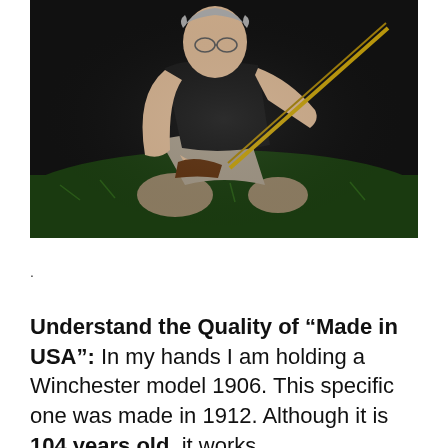[Figure (photo): A middle-aged man with grey hair and glasses, wearing a black t-shirt and shorts, kneeling on grass at night and holding a long rifle (Winchester model 1906). The background is dark with green grass illuminated by flash.]
.
Understand the Quality of “Made in USA”: In my hands I am holding a Winchester model 1906. This specific one was made in 1912. Although it is 104 years old, it works